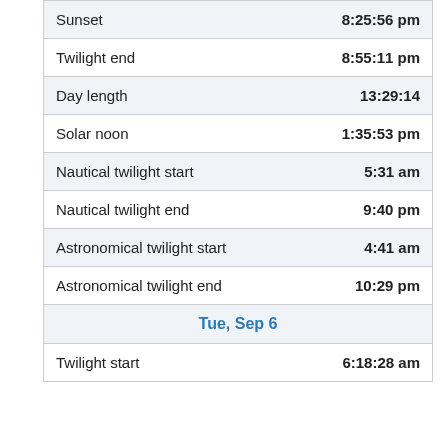| Event | Time |
| --- | --- |
| Sunset | 8:25:56 pm |
| Twilight end | 8:55:11 pm |
| Day length | 13:29:14 |
| Solar noon | 1:35:53 pm |
| Nautical twilight start | 5:31 am |
| Nautical twilight end | 9:40 pm |
| Astronomical twilight start | 4:41 am |
| Astronomical twilight end | 10:29 pm |
| Tue, Sep 6 |  |
| Twilight start | 6:18:28 am |